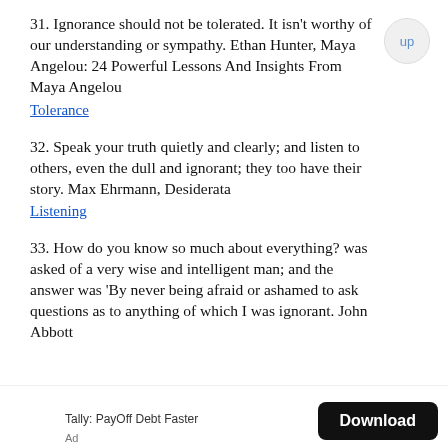31. Ignorance should not be tolerated. It isn't worthy of our understanding or sympathy. Ethan Hunter, Maya Angelou: 24 Powerful Lessons And Insights From Maya Angelou
Tolerance
32. Speak your truth quietly and clearly; and listen to others, even the dull and ignorant; they too have their story. Max Ehrmann, Desiderata
Listening
33. How do you know so much about everything? was asked of a very wise and intelligent man; and the answer was 'By never being afraid or ashamed to ask questions as to anything of which I was ignorant. John Abbott